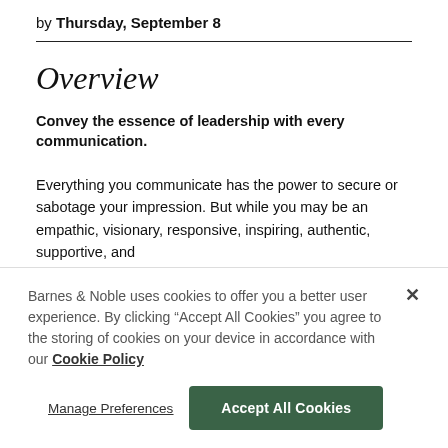by Thursday, September 8
Overview
Convey the essence of leadership with every communication.
Everything you communicate has the power to secure or sabotage your impression. But while you may be an empathic, visionary, responsive, inspiring, authentic, supportive, and
Barnes & Noble uses cookies to offer you a better user experience. By clicking "Accept All Cookies" you agree to the storing of cookies on your device in accordance with our Cookie Policy
Manage Preferences
Accept All Cookies